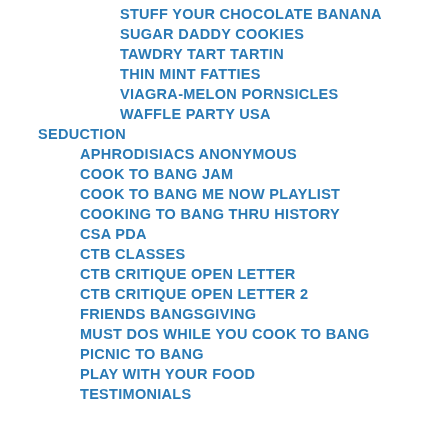STUFF YOUR CHOCOLATE BANANA
SUGAR DADDY COOKIES
TAWDRY TART TARTIN
THIN MINT FATTIES
VIAGRA-MELON PORNSICLES
WAFFLE PARTY USA
SEDUCTION
APHRODISIACS ANONYMOUS
COOK TO BANG JAM
COOK TO BANG ME NOW PLAYLIST
COOKING TO BANG THRU HISTORY
CSA PDA
CTB CLASSES
CTB CRITIQUE OPEN LETTER
CTB CRITIQUE OPEN LETTER 2
FRIENDS BANGSGIVING
MUST DOS WHILE YOU COOK TO BANG
PICNIC TO BANG
PLAY WITH YOUR FOOD
TESTIMONIALS